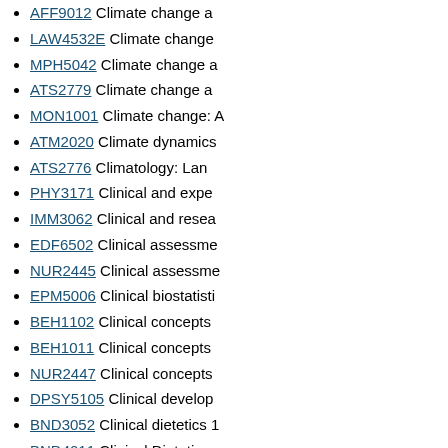AFF9012 Climate change a
LAW4532E Climate change
MPH5042 Climate change a
ATS2779 Climate change a
MON1001 Climate change: A
ATM2020 Climate dynamics
ATS2776 Climatology: Lan
PHY3171 Clinical and expe
IMM3062 Clinical and resea
EDF6502 Clinical assessme
NUR2445 Clinical assessme
EPM5006 Clinical biostatisti
BEH1102 Clinical concepts
BEH1011 Clinical concepts
NUR2447 Clinical concepts
DPSY5105 Clinical develop
BND3052 Clinical dietetics 1
BND4011 Clinical Dietetics
MEH5030 Clinical education
BEH3012 Clinical education preparedness
PGP5014 Clinical educator
MPH2002 Clinical epidemiol
APG4714 Clinical ethics